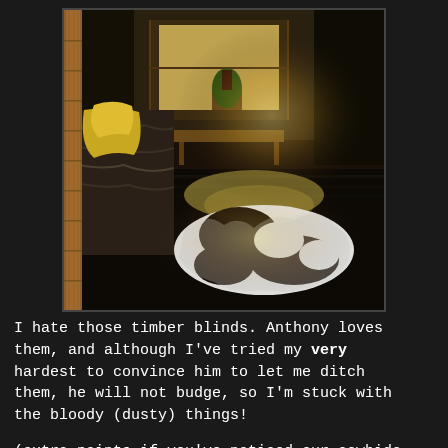[Figure (photo): Interior room photo showing a living room with a cowhide rug on a dark hardwood floor, a sofa with patterned fabric and a yellow blanket, timber/wooden blinds in the foreground, a wooden bench/side table with a potted plant near a bright window, and dark curtains in the background.]
I hate those timber blinds. Anthony loves them, and although I've tried my very hardest to convince him to let me ditch them, he will not budge, so I'm stuck with the bloody (dusty) things!
(extra points if you've noticed our cowhide is looking a bit flasher than usual. It's a